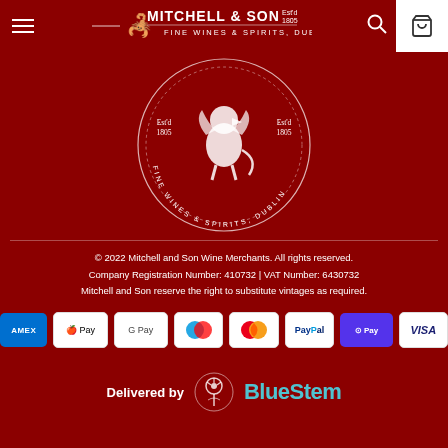Mitchell & Son Fine Wines & Spirits, Dublin
[Figure (logo): Mitchell and Son circular logo with Est'd 1805 text and Fine Wines & Spirits, Dublin, featuring a decorative griffin/crest in white on dark red background]
© 2022 Mitchell and Son Wine Merchants. All rights reserved.
Company Registration Number: 410732 | VAT Number: 6430732
Mitchell and Son reserve the right to substitute vintages as required.
[Figure (infographic): Row of payment method icons: American Express, Apple Pay, Google Pay, Maestro, Mastercard, PayPal, Shop Pay, Visa]
[Figure (logo): Delivered by BlueStem logo with circular tree icon and teal BlueStem text]